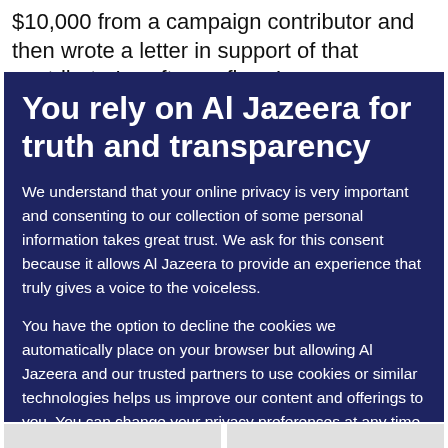$10,000 from a campaign contributor and then wrote a letter in support of that contributor's software firm. In
You rely on Al Jazeera for truth and transparency
We understand that your online privacy is very important and consenting to our collection of some personal information takes great trust. We ask for this consent because it allows Al Jazeera to provide an experience that truly gives a voice to the voiceless.
You have the option to decline the cookies we automatically place on your browser but allowing Al Jazeera and our trusted partners to use cookies or similar technologies helps us improve our content and offerings to you. You can change your privacy preferences at any time by selecting ‘Cookie preferences’ at the bottom of your screen. To learn more, please view our Cookie Policy.